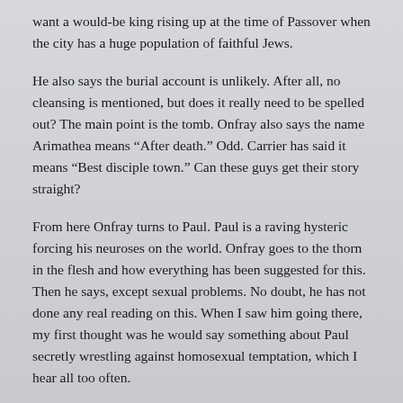want a would-be king rising up at the time of Passover when the city has a huge population of faithful Jews.
He also says the burial account is unlikely. After all, no cleansing is mentioned, but does it really need to be spelled out? The main point is the tomb. Onfray also says the name Arimathea means “After death.” Odd. Carrier has said it means “Best disciple town.” Can these guys get their story straight?
From here Onfray turns to Paul. Paul is a raving hysteric forcing his neuroses on the world. Onfray goes to the thorn in the flesh and how everything has been suggested for this. Then he says, except sexual problems. No doubt, he has not done any real reading on this. When I saw him going there, my first thought was he would say something about Paul secretly wrestling against homosexual temptation, which I hear all too often.